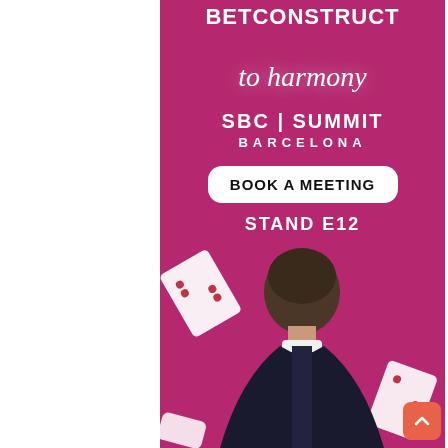BETCONSTRUCT
to harmony
SBC | SUMMIT BARCELONA
BOOK A MEETING
STAND E12
[Figure (illustration): Back of a person in a suit with floating playing cards on a magenta/purple background]